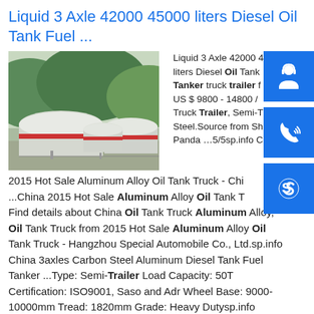Liquid 3 Axle 42000 45000 liters Diesel Oil Tank Fuel ...
[Figure (photo): Photo of large white cylindrical oil storage tanks with red bands, surrounded by green hills]
Liquid 3 Axle 42000 45000 liters Diesel Oil Tank Tanker truck trailer f... US $ 9800 - 14800 / Unit Truck Trailer, Semi-T... Steel.Source from Sh... Panda …5/5sp.info China
2015 Hot Sale Aluminum Alloy Oil Tank Truck - Chi... ...China 2015 Hot Sale Aluminum Alloy Oil Tank T... Find details about China Oil Tank Truck Aluminum Alloy, Oil Tank Truck from 2015 Hot Sale Aluminum Alloy Oil Tank Truck - Hangzhou Special Automobile Co., Ltd.sp.info China 3axles Carbon Steel Aluminum Diesel Tank Fuel Tanker ...Type: Semi-Trailer Load Capacity: 50T Certification: ISO9001, Saso and Adr Wheel Base: 9000-10000mm Tread: 1820mm Grade: Heavy Dutysp.info 3-42T RRW...b 46000l Aluminum Alloy Petro...p Mobi...